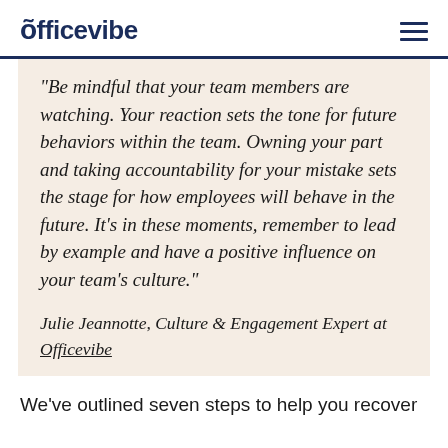õfficevibe
"Be mindful that your team members are watching. Your reaction sets the tone for future behaviors within the team. Owning your part and taking accountability for your mistake sets the stage for how employees will behave in the future. It's in these moments, remember to lead by example and have a positive influence on your team's culture."
Julie Jeannotte, Culture & Engagement Expert at Officevibe
We've outlined seven steps to help you recover